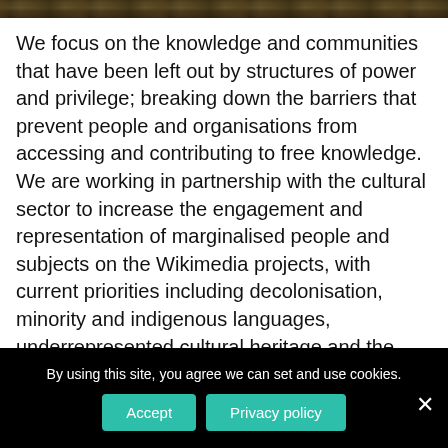[Figure (photo): Partial photo strip at the top showing natural/forest scenery in dark green and brown tones]
We focus on the knowledge and communities that have been left out by structures of power and privilege; breaking down the barriers that prevent people and organisations from accessing and contributing to free knowledge. We are working in partnership with the cultural sector to increase the engagement and representation of marginalised people and subjects on the Wikimedia projects, with current priorities including decolonisation, minority and indigenous languages, underrepresented cultural heritage and the gender gap.
By using this site, you agree we can set and use cookies.
Accept
Privacy policy